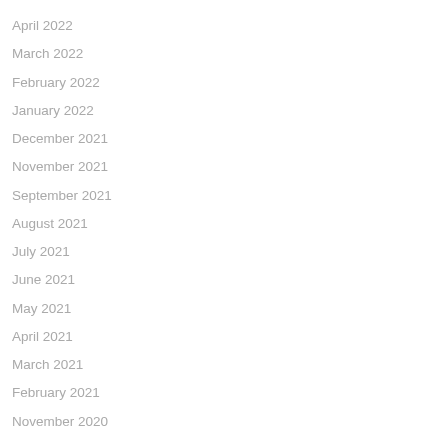April 2022
March 2022
February 2022
January 2022
December 2021
November 2021
September 2021
August 2021
July 2021
June 2021
May 2021
April 2021
March 2021
February 2021
November 2020